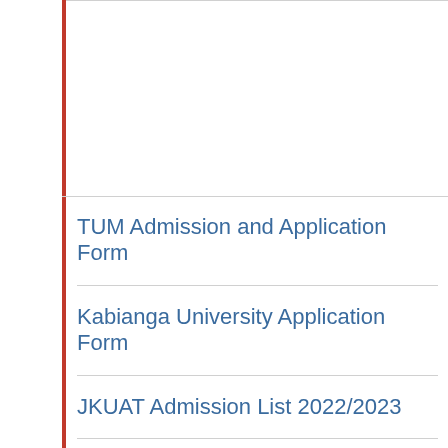TUM Admission and Application Form
Kabianga University Application Form
JKUAT Admission List 2022/2023
Eldoret Polytechnic Student Portal
Kenya Methodist University Courses Offered